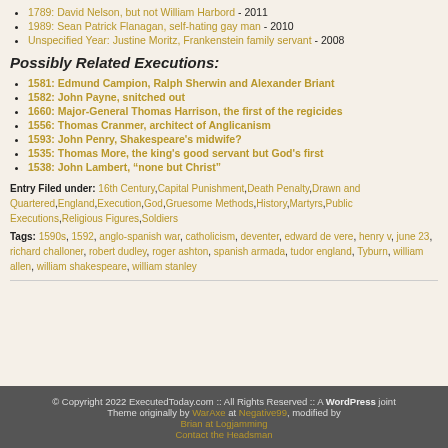1789: David Nelson, but not William Harbord - 2011
1989: Sean Patrick Flanagan, self-hating gay man - 2010
Unspecified Year: Justine Moritz, Frankenstein family servant - 2008
Possibly Related Executions:
1581: Edmund Campion, Ralph Sherwin and Alexander Briant
1582: John Payne, snitched out
1660: Major-General Thomas Harrison, the first of the regicides
1556: Thomas Cranmer, architect of Anglicanism
1593: John Penry, Shakespeare's midwife?
1535: Thomas More, the king's good servant but God's first
1538: John Lambert, "none but Christ"
Entry Filed under: 16th Century,Capital Punishment,Death Penalty,Drawn and Quartered,England,Execution,God,Gruesome Methods,History,Martyrs,Public Executions,Religious Figures,Soldiers
Tags: 1590s, 1592, anglo-spanish war, catholicism, deventer, edward de vere, henry v, june 23, richard challoner, robert dudley, roger ashton, spanish armada, tudor england, Tyburn, william allen, william shakespeare, william stanley
© Copyright 2022 ExecutedToday.com :: All Rights Reserved :: A WordPress joint
Theme originally by WarAxe at Negative99, modified by
Brian at Logjamming
Contact the Headsman